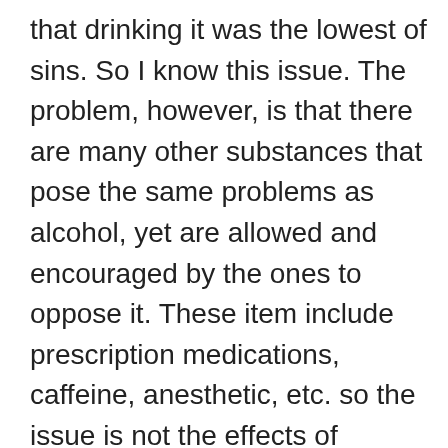that drinking it was the lowest of sins. So I know this issue. The problem, however, is that there are many other substances that pose the same problems as alcohol, yet are allowed and encouraged by the ones to oppose it. These item include prescription medications, caffeine, anesthetic, etc. so the issue is not the effects of alcohol alone, but the sense of “dirty culture” associated with the consumption of alcohol from which Christians try to separate. May we all have Scripture at the forefront as we approach this issue (and all issues) and be of sound mind in discussion.